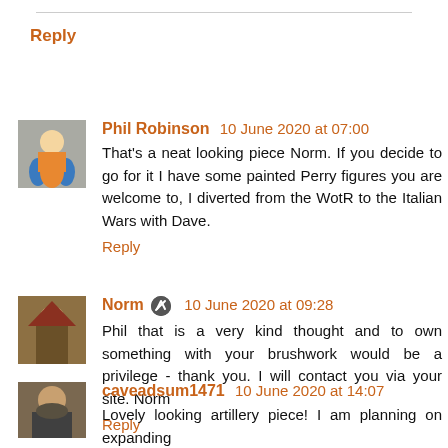Reply
Phil Robinson 10 June 2020 at 07:00
That's a neat looking piece Norm. If you decide to go for it I have some painted Perry figures you are welcome to, I diverted from the WotR to the Italian Wars with Dave.
Reply
Norm 10 June 2020 at 09:28
Phil that is a very kind thought and to own something with your brushwork would be a privilege - thank you. I will contact you via your site. Norm
Reply
caveadsum1471 10 June 2020 at 14:07
Lovely looking artillery piece! I am planning on expanding